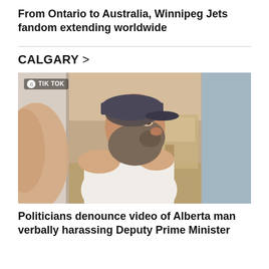From Ontario to Australia, Winnipeg Jets fandom extending worldwide
CALGARY >
[Figure (photo): A bearded man wearing a baseball cap and white tank top in an indoor setting, screenshot from TikTok video with TIK TOK watermark badge in upper left corner.]
Politicians denounce video of Alberta man verbally harassing Deputy Prime Minister